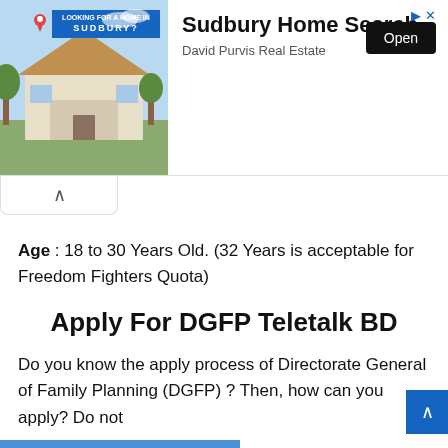[Figure (screenshot): Advertisement banner for Sudbury Home Search by David Purvis Real Estate, showing a house photo on the left with text and Open button on the right]
Age : 18 to 30 Years Old. (32 Years is acceptable for Freedom Fighters Quota)
Apply For DGFP Teletalk BD
Do you know the apply process of Directorate General of Family Planning (DGFP) ? Then, how can you apply? Do not